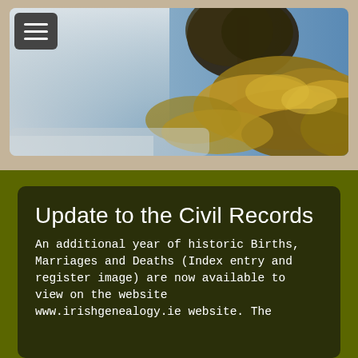[Figure (photo): Outdoor nature photo showing trees with golden/autumn foliage against a blue sky, misty atmosphere with light-colored foreground blending to sky]
Update to the Civil Records
An additional year of historic Births, Marriages and Deaths (Index entry and register image) are now available to view on the website www.irishgenealogy.ie website. The